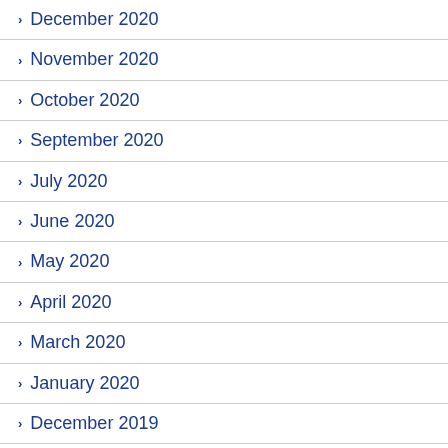December 2020
November 2020
October 2020
September 2020
July 2020
June 2020
May 2020
April 2020
March 2020
January 2020
December 2019